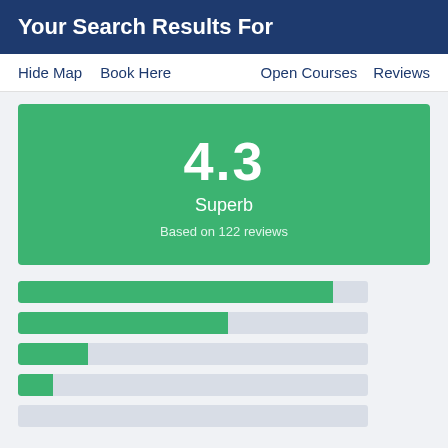Your Search Results For
Hide Map   Book Here   Open Courses   Reviews
[Figure (infographic): Green score box showing rating 4.3 Superb, Based on 122 reviews]
[Figure (bar-chart): Five horizontal progress bars showing review rating distribution; top bar ~90% filled, second ~60%, third ~20%, fourth ~10%, fifth 0%]